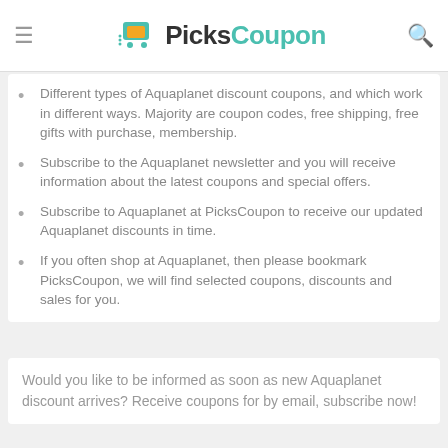PicksCoupon
Different types of Aquaplanet discount coupons, and which work in different ways. Majority are coupon codes, free shipping, free gifts with purchase, membership.
Subscribe to the Aquaplanet newsletter and you will receive information about the latest coupons and special offers.
Subscribe to Aquaplanet at PicksCoupon to receive our updated Aquaplanet discounts in time.
If you often shop at Aquaplanet, then please bookmark PicksCoupon, we will find selected coupons, discounts and sales for you.
Would you like to be informed as soon as new Aquaplanet discount arrives? Receive coupons for by email, subscribe now!